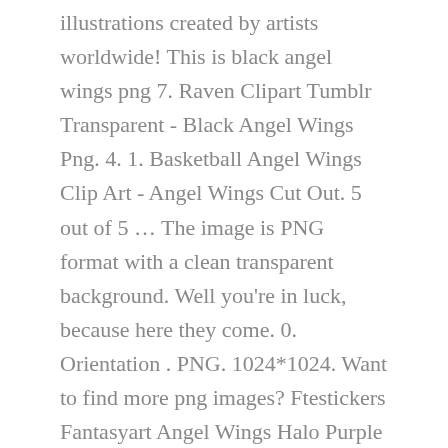illustrations created by artists worldwide! This is black angel wings png 7. Raven Clipart Tumblr Transparent - Black Angel Wings Png. 4. 1. Basketball Angel Wings Clip Art - Angel Wings Cut Out. 5 out of 5 … The image is PNG format with a clean transparent background. Well you're in luck, because here they come. 0. Orientation . PNG. 1024*1024. Want to find more png images? Ftestickers Fantasyart Angel Wings Halo Purple - Angel Halos And Wings . Black Angel Wings Png Image With Transparent Background - Black Angel Wings Png, Free Png Download Black Wings Png Images Background - Black Angel Wings Transparent, Dark Angel Clipart Angelwings - Transparent Black Wing, Darkangel Angelwings Angels Angel Wings Feathers Fly - Black Angel Wings Png, White Angel Wings Png Transparent Image - Baby Angel Wings Background, Remembrance Clip Art A Clker Com Vector - Angel Wings, Angels In America Wings - Baby Angel Wings Background, Elements Flight Angel Bird Black Logo Wing Clipart - Wing Vector Blue, Simple Angel Wings Clip